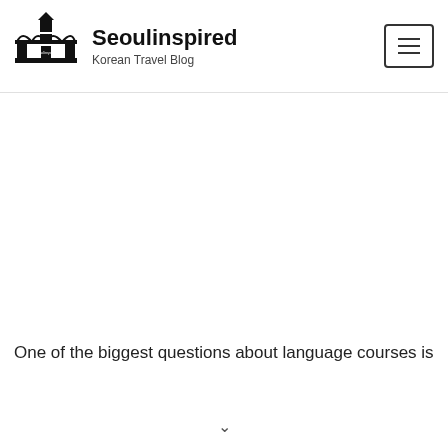[Figure (logo): Seoulinspired logo: black illustration of a gate/building with a tower, with 'Seoulinspired' text in cursive on the image]
Seoulinspired
Korean Travel Blog
[Figure (other): Hamburger menu button (three horizontal lines in a rounded rectangle border)]
One of the biggest questions about language courses is